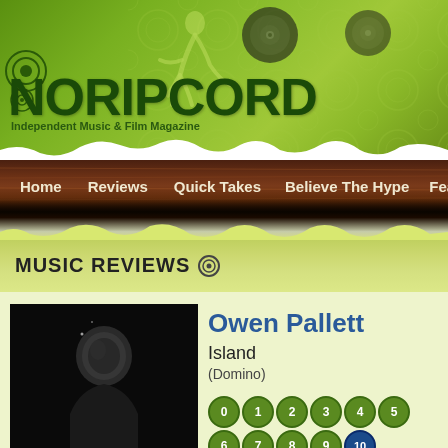[Figure (other): NoRipCord Independent Music & Film Magazine website header banner with green grunge background, vinyl record silhouettes, dancer silhouette, and logo]
NORIPCORD Independent Music & Film Magazine
Home   Reviews   Quick Takes   Believe The Hype   Featu...
MUSIC REVIEWS
[Figure (photo): Dark portrait photo of Owen Pallett, man in dark clothing against black background]
Owen Pallett
Island
(Domino)
0 1 2 3 4 5 6 7 8 9 10 (rating scale)